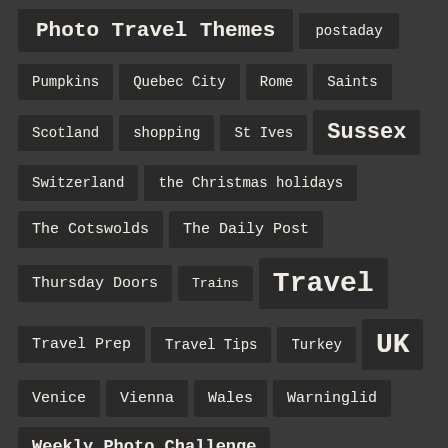Photo Travel Themes
postaday
Pumpkins
Quebec City
Rome
Saints
Scotland
shopping
St Ives
Sussex
Switzerland
the Christmas holidays
The Cotswolds
The Daily Post
Thursday Doors
Trains
Travel
Travel Prep
Travel Tips
Turkey
UK
Venice
Vienna
Wales
Warninglid
Weekly Photo Challenge